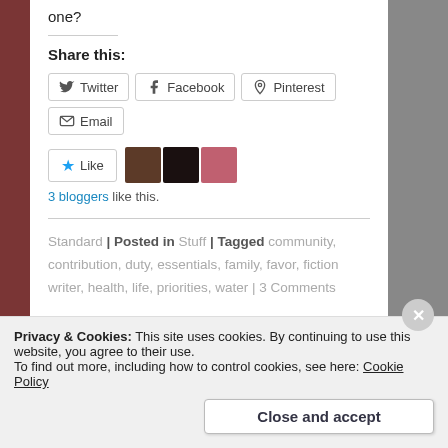one?
Share this:
[Figure (screenshot): Social share buttons: Twitter, Facebook, Pinterest, Email]
[Figure (screenshot): Like button with star icon and 3 blogger avatar thumbnails]
3 bloggers like this.
Standard | Posted in Stuff | Tagged community, contribution, duty, essentials, family, favor, fiction writer, health, life, priorities, water | 3 Comments
Privacy & Cookies: This site uses cookies. By continuing to use this website, you agree to their use. To find out more, including how to control cookies, see here: Cookie Policy
Close and accept